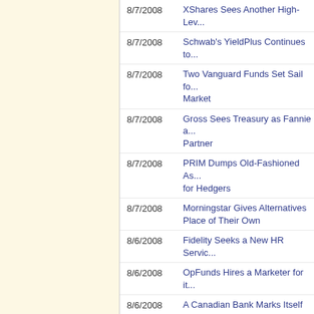8/7/2008 | XShares Sees Another High-Lev...
8/7/2008 | Schwab's YieldPlus Continues to...
8/7/2008 | Two Vanguard Funds Set Sail for Market
8/7/2008 | Gross Sees Treasury as Fannie a... Partner
8/7/2008 | PRIM Dumps Old-Fashioned As... for Hedgers
8/7/2008 | Morningstar Gives Alternatives Place of Their Own
8/6/2008 | Fidelity Seeks a New HR Servic...
8/6/2008 | OpFunds Hires a Marketer for it...
8/6/2008 | A Canadian Bank Marks Itself a...
8/6/2008 | NatCity Wraps Up Round One o... Bids
8/6/2008 | GAMCO Reports Lower Earnin... Back More Shares
8/6/2008 | Will Risky Bets Sink Janus Aga...